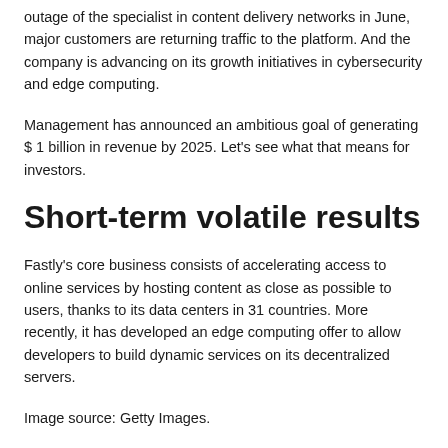outage of the specialist in content delivery networks in June, major customers are returning traffic to the platform. And the company is advancing on its growth initiatives in cybersecurity and edge computing.
Management has announced an ambitious goal of generating $ 1 billion in revenue by 2025. Let's see what that means for investors.
Short-term volatile results
Fastly's core business consists of accelerating access to online services by hosting content as close as possible to users, thanks to its data centers in 31 countries. More recently, it has developed an edge computing offer to allow developers to build dynamic services on its decentralized servers.
Image source: Getty Images.